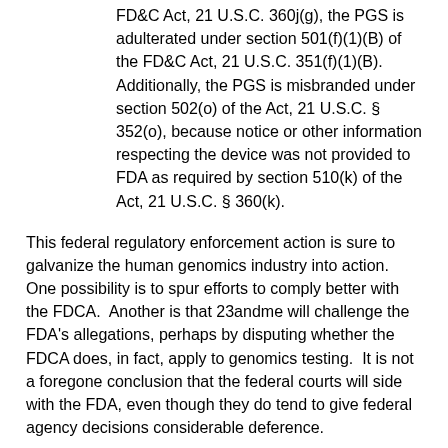FD&C Act, 21 U.S.C. 360j(g), the PGS is adulterated under section 501(f)(1)(B) of the FD&C Act, 21 U.S.C. 351(f)(1)(B).  Additionally, the PGS is misbranded under section 502(o) of the Act, 21 U.S.C. § 352(o), because notice or other information respecting the device was not provided to FDA as required by section 510(k) of the Act, 21 U.S.C. § 360(k).
This federal regulatory enforcement action is sure to galvanize the human genomics industry into action.  One possibility is to spur efforts to comply better with the FDCA.  Another is that 23andme will challenge the FDA's allegations, perhaps by disputing whether the FDCA does, in fact, apply to genomics testing.  It is not a foregone conclusion that the federal courts will side with the FDA, even though they do tend to give federal agency decisions considerable deference.
Regardless of the outcome of this particular FDA enforcement action, human genomics is certain to play an acceleratingly-important role in human health.  As the avid [continues...]